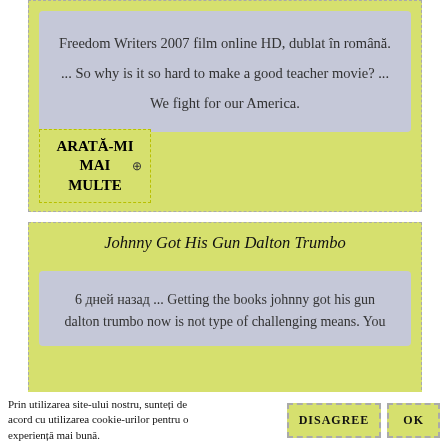Freedom Writers 2007 film online HD, dublat în română. ... So why is it so hard to make a good teacher movie? ... We fight for our America.
ARATĂ-MI MAI MULTE
Johnny Got His Gun Dalton Trumbo
6 дней назад ... Getting the books johnny got his gun dalton trumbo now is not type of challenging means. You
Prin utilizarea site-ului nostru, sunteți de acord cu utilizarea cookie-urilor pentru o experiență mai bună.